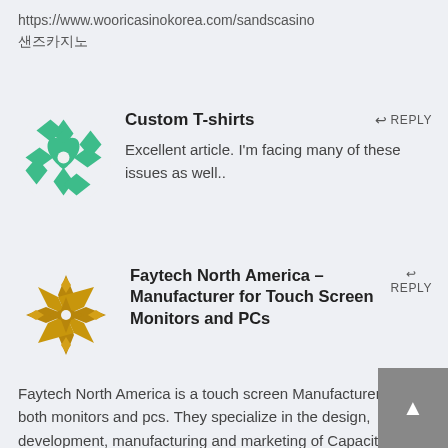https://www.wooricasinokorea.com/sandscasino 샌즈카지노
[Figure (illustration): Green decorative avatar icon with geometric diamond/heart pattern]
Custom T-shirts
REPLY
Excellent article. I'm facing many of these issues as well..
[Figure (illustration): Gold/brown decorative avatar icon with geometric star/snowflake pattern]
Faytech North America – Manufacturer for Touch Screen Monitors and PCs
REPLY
Faytech North America is a touch screen Manufacturer of both monitors and pcs. They specialize in the design, development, manufacturing and marketing of Capacitive touch screen, Resistive touch screen, Industrial touch screen, IP65 touch screen, touchscreen monitors and integrated touchscreen PCs.